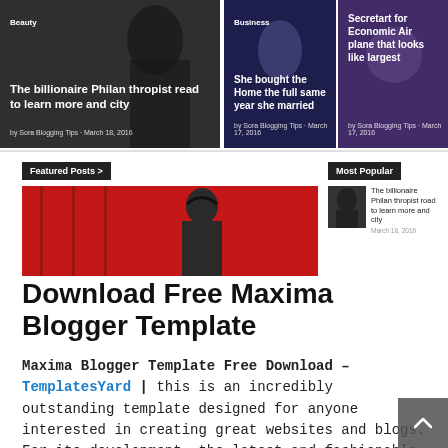[Figure (screenshot): Top banner with three image cards: left (Beauty category, 'The billionaire Philan thropist read to learn more and city'), center (Business, 'She bought the Home the full same year she married'), right ('Secretart for Economic Air plane that looks like largest')]
[Figure (screenshot): Featured Posts section with red image of person with headphones, and Most Popular sidebar with thumbnail and article title]
Download Free Maxima Blogger Template
Maxima Blogger Template Free Download – TemplatesYard | this is an incredibly outstanding template designed for anyone interested in creating great websites and blogs. For its development, the latest and fashionable methods are used. With a whole host of great features, this current template will help you. There are